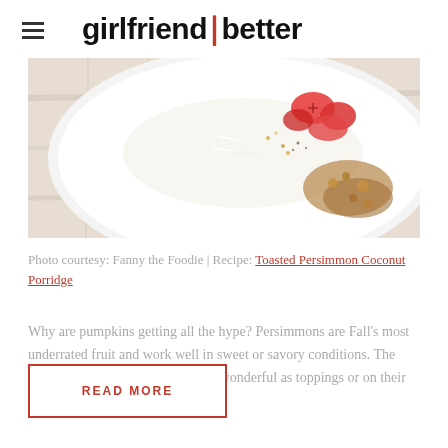girlfriend's better
[Figure (photo): Top-down food photo of a white plate with toasted persimmon coconut porridge, garnished with red persimmon slices and nuts on a light wooden background.]
Photo courtesy: Fanny the Foodie | Recipe: Toasted Persimmon Coconut Porridge
Why are pumpkins getting all the hype? Persimmons are Fall's most underrated fruit and work well in sweet or savory conditions. The Vitamin A and C rich darlings are wonderful as toppings or on their own. If you're heading out [...]
READ MORE